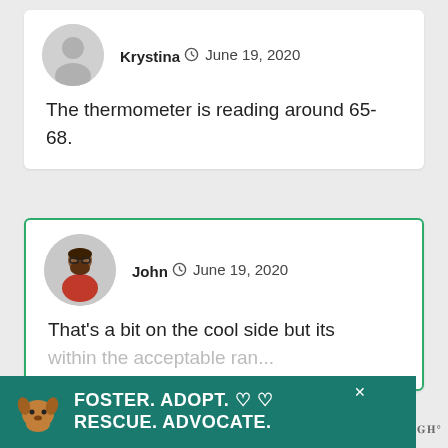Krystina  June 19, 2020
The thermometer is reading around 65-68.
John  June 19, 2020
That's a bit on the cool side but its within the acceptable range.
[Figure (infographic): Advertisement banner: Foster. Adopt. Rescue. Advocate. with dog photo on teal background]